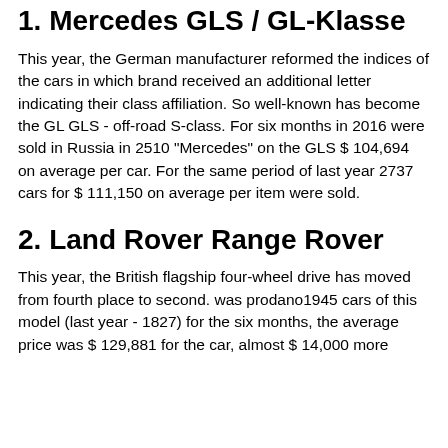1. Mercedes GLS / GL-Klasse
This year, the German manufacturer reformed the indices of the cars in which brand received an additional letter indicating their class affiliation. So well-known has become the GL GLS - off-road S-class. For six months in 2016 were sold in Russia in 2510 "Mercedes" on the GLS $ 104,694 on average per car. For the same period of last year 2737 cars for $ 111,150 on average per item were sold.
2. Land Rover Range Rover
This year, the British flagship four-wheel drive has moved from fourth place to second. was prodano1945 cars of this model (last year - 1827) for the six months, the average price was $ 129,881 for the car, almost $ 14,000 more